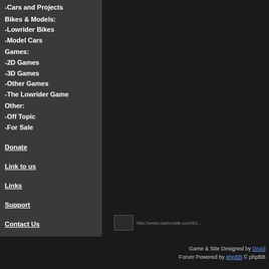-Cars and Projects
Bikes & Models:
-Lowrider Bikes
-Model Cars
Games:
-2D Games
-3D Games
-Other Games
-The Lowrider Game
Other:
-Off Topic
-For Sale
Donate
Link to us
Links
Support
Contact Us
[Figure (other): Share bar with social media icons including Delicious, Digg, Facebook]
[Figure (other): CashCrate advertisement image placeholder]
Game & Site Designed by Druid  Forum Powered by phpBB © phpBB